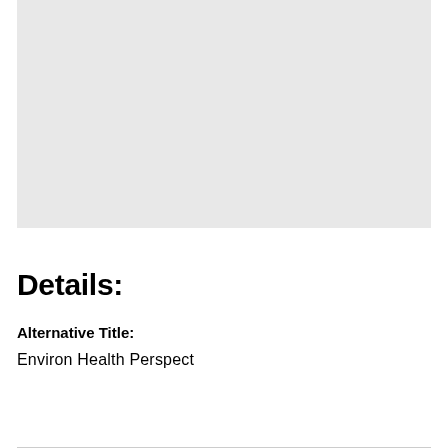[Figure (other): Gray placeholder image area at top of page]
Details:
Alternative Title:
Environ Health Perspect